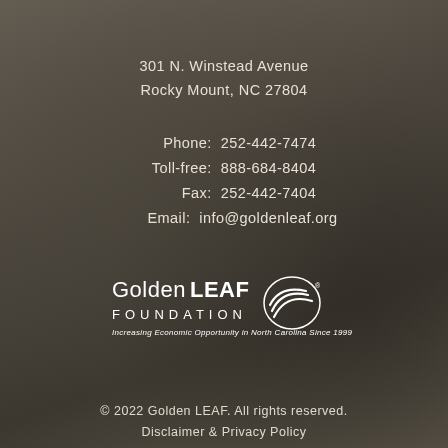301 N. Winstead Avenue
Rocky Mount, NC 27804
Phone:  252-442-7474
Toll-free:  888-684-8404
Fax:  252-442-7404
Email:  info@goldenleaf.org
[Figure (logo): Golden LEAF Foundation logo — wordmark with stylized circular swoosh icon, text reads 'Golden LEAF FOUNDATION — Increasing Economic Opportunity in North Carolina Since 1999']
© 2022 Golden LEAF. All rights reserved.
Disclaimer & Privacy Policy